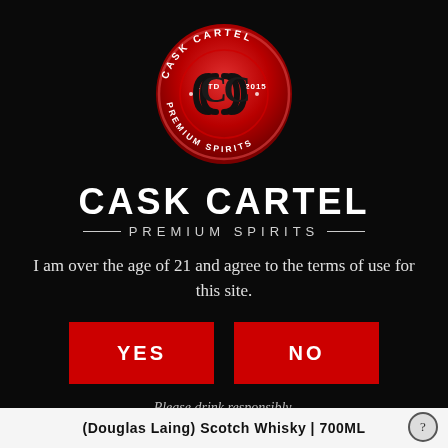[Figure (logo): Cask Cartel wax seal logo — red circular wax seal with 'CASK CARTEL' text around the top, 'PREMIUM SPIRITS' around the bottom, 'ESTD 2015' and interlocked CC monogram in center]
CASK CARTEL
— PREMIUM SPIRITS —
I am over the age of 21 and agree to the terms of use for this site.
YES
NO
Please drink responsibly.
(Douglas Laing) Scotch Whisky | 700ML